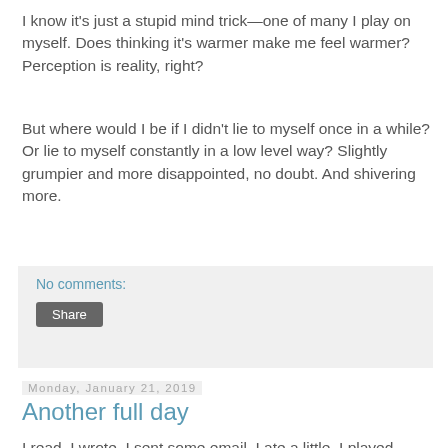I know it's just a stupid mind trick—one of many I play on myself. Does thinking it's warmer make me feel warmer? Perception is reality, right?
But where would I be if I didn't lie to myself once in a while? Or lie to myself constantly in a low level way? Slightly grumpier and more disappointed, no doubt. And shivering more.
No comments:
Share
Monday, January 21, 2019
Another full day
I read. I wrote. I sent some email. I ate a little. I played some games. I walked. I looked at the scenery. I thought about things. I made some vague plans. And that was enough.